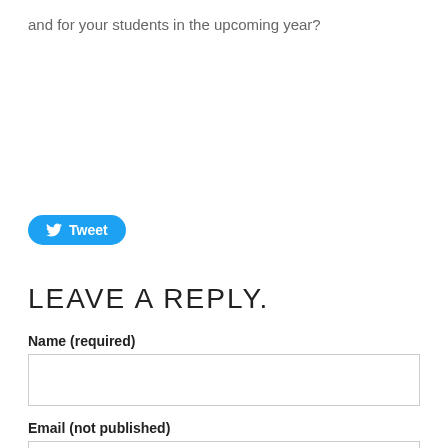and for your students in the upcoming year?
[Figure (other): Twitter Tweet button with bird icon]
LEAVE A REPLY.
Name (required)
Email (not published)
Website